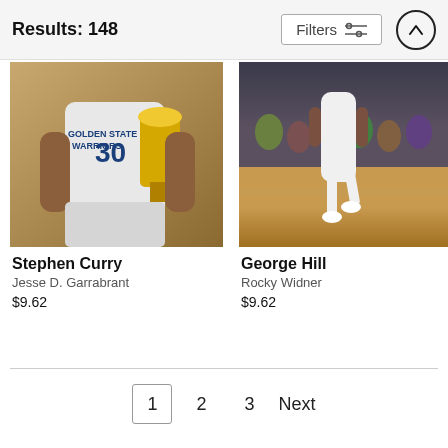Results: 148
Filters
[Figure (photo): Stephen Curry holding the NBA championship trophy, wearing Golden State Warriors #30 jersey]
Stephen Curry
Jesse D. Garrabrant
$9.62
[Figure (photo): George Hill in white uniform jumping on a basketball court with crowd in background]
George Hill
Rocky Widner
$9.62
1  2  3  Next